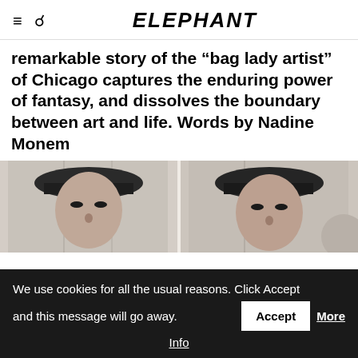ELEPHANT
remarkable story of the “bag lady artist” of Chicago captures the enduring power of fantasy, and dissolves the boundary between art and life. Words by Nadine Monem
[Figure (photo): Black and white photo strip showing two side-by-side portrait shots of a person wearing a dark wide-brimmed hat, looking upward.]
We use cookies for all the usual reasons. Click Accept and this message will go away.
Accept
More Info